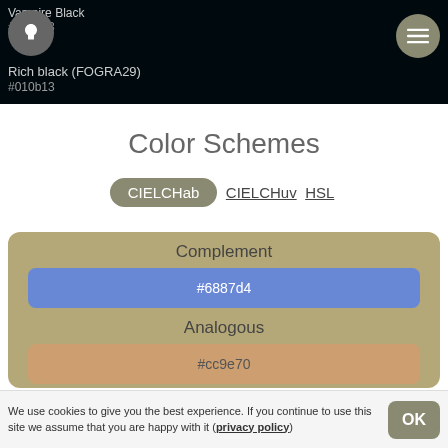Vampire Black
#000008
Rich black (FOGRA29)
#010b13
Color Schemes
CIELCHab  CIELCHuv  HSL
Complement
#6887d4
Analogous
#cc9e70
We use cookies to give you the best experience. If you continue to use this site we assume that you are happy with it (privacy policy)